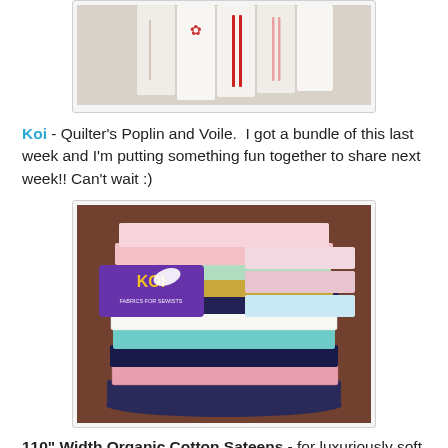[Figure (photo): Photo of white fabric/towels hanging, with decorative stitching and red stripes, against a light wall background.]
Koi - Quilter's Poplin and Voile.  I got a bundle of this last week and I'm putting something fun together to share next week!! Can't wait :)
[Figure (photo): Photo of a large stack of folded fabric bundles in various colors and patterns (pink, mint, navy, floral, geometric), with a purple KOI fabric brand logo in the upper left corner.]
110" Width Organic Cotton Sateens - for luxuriously soft and smooth quilts, bedding, and apparel.  I am so intrigued